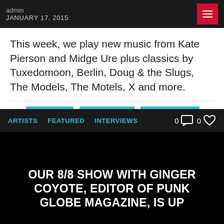admin JANUARY 17, 2015
This week, we play new music from Kate Pierson and Midge Ure plus classics by Tuxedomoon, Berlin, Doug & the Slugs, The Models, The Motels, X and more.
ARTISTS   FEATURED   INTERVIEWS
[Figure (screenshot): Black featured block with white bold uppercase text reading: OUR 8/8 SHOW WITH GINGER COYOTE, EDITOR OF PUNK GLOBE MAGAZINE, IS UP]
Search icon